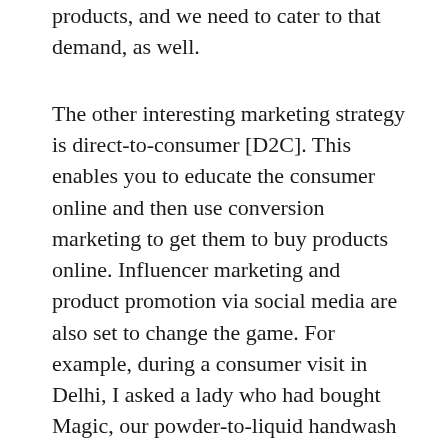products, and we need to cater to that demand, as well.
The other interesting marketing strategy is direct-to-consumer [D2C]. This enables you to educate the consumer online and then use conversion marketing to get them to buy products online. Influencer marketing and product promotion via social media are also set to change the game. For example, during a consumer visit in Delhi, I asked a lady who had bought Magic, our powder-to-liquid handwash product, if she had seen our ad. She told me, “No. Someone sent me the picture on WhatsApp. So I bought it.” Word of mouth has acquired a new meaning altogether.